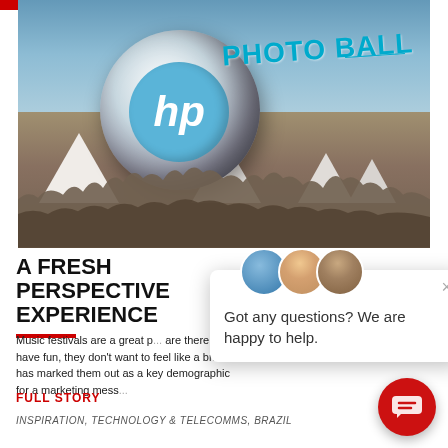[Figure (photo): HP branded balloon/ball floating above a crowd at a music festival with white tent structures visible. Text 'PHOTO BALL' in cyan overlaid on upper right of image.]
A FRESH PERSPECTIVE EXPERIENCE
Music festivals are a great p... are there to have fun, they don't want to feel like a brand has marked them out as a key demographic for a marketing mess...
FULL STORY
INSPIRATION, TECHNOLOGY & TELECOMMS, BRAZIL